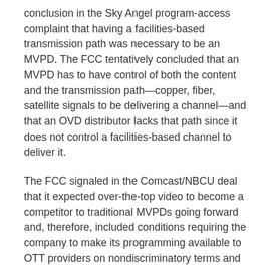conclusion in the Sky Angel program-access complaint that having a facilities-based transmission path was necessary to be an MVPD. The FCC tentatively concluded that an MVPD has to have control of both the content and the transmission path—copper, fiber, satellite signals to be delivering a channel—and that an OVD distributor lacks that path since it does not control a facilities-based channel to deliver it.
The FCC signaled in the Comcast/NBCU deal that it expected over-the-top video to become a competitor to traditional MVPDs going forward and, therefore, included conditions requiring the company to make its programming available to OTT providers on nondiscriminatory terms and conditions.
The National Cable & Telecommunications...